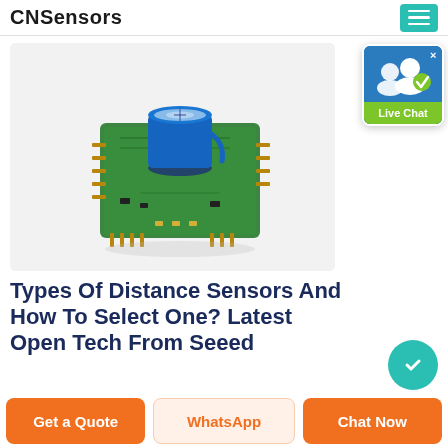CNSensors
[Figure (photo): A green PCB circuit board sensor module with a round blue electrolytic capacitor on top and gold pin headers, photographed on a white background.]
[Figure (screenshot): Live Chat widget: blue background with white user icons and a teal/green 'Live Chat' label at the bottom, with an X close button.]
Types Of Distance Sensors And How To Select One? Latest Open Tech From Seeed
Get a Quote
WhatsApp
Chat Now